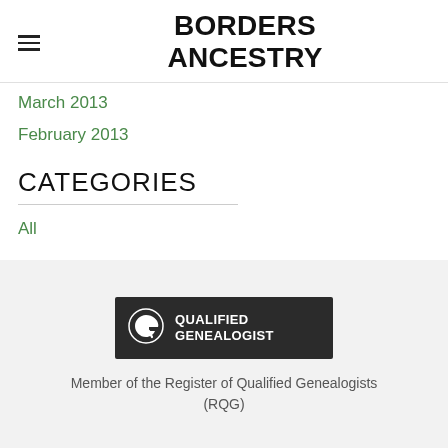BORDERS ANCESTRY
March 2013
February 2013
CATEGORIES
All
[Figure (logo): Qualified Genealogist badge logo — dark background with stylized G and text QUALIFIED GENEALOGIST]
Member of the Register of Qualified Genealogists (RQG)